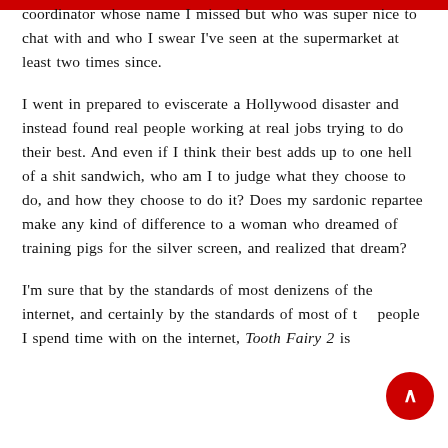coordinator whose name I missed but who was super nice to chat with and who I swear I've seen at the supermarket at least two times since.
I went in prepared to eviscerate a Hollywood disaster and instead found real people working at real jobs trying to do their best. And even if I think their best adds up to one hell of a shit sandwich, who am I to judge what they choose to do, and how they choose to do it? Does my sardonic repartee make any kind of difference to a woman who dreamed of training pigs for the silver screen, and realized that dream?
I'm sure that by the standards of most denizens of the internet, and certainly by the standards of most of the people I spend time with on the internet, Tooth Fairy 2 is